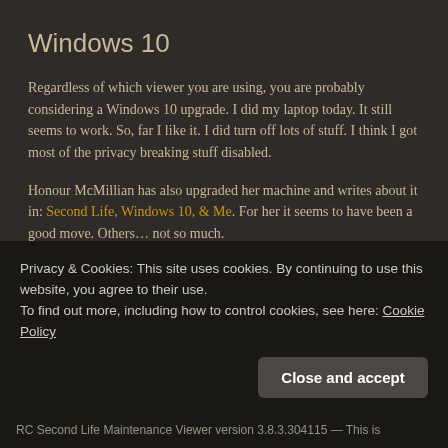Windows 10
Regardless of which viewer you are using, you are probably considering a Windows 10 upgrade. I did my laptop today. It still seems to work. So, far I like it. I did turn off lots of stuff. I think I got most of the privacy breaking stuff disabled.
Honour McMillian has also upgraded her machine and writes about it in: Second Life, Windows 10, & Me. For her it seems to have been a good move. Others… not so much.
Linden Viewers
SL Main Viewer 3.8.3.303004 — (truncated)
Privacy & Cookies: This site uses cookies. By continuing to use this website, you agree to their use.
To find out more, including how to control cookies, see here: Cookie Policy
Close and accept
RC Second Life Maintenance Viewer version 3.8.3.304115 — This is